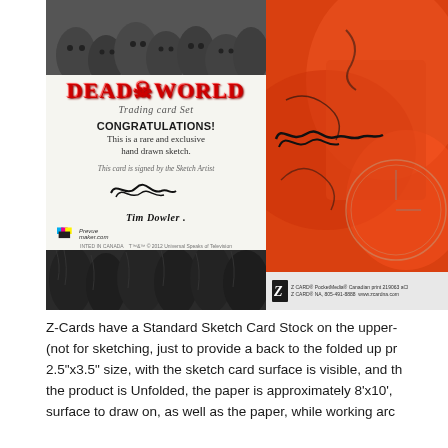[Figure (photo): Photo of a Deadworld Trading Card Set sketch card. Left side shows the back of the card with the Deadworld logo in red, 'Trading Card Set' in italic script, 'CONGRATULATIONS!' in bold, 'This is a rare and exclusive hand drawn sketch.' text, artist signature lines reading 'Tim Dowler', CMYK Prevue logo, and zombie artwork at top and bottom. Right side shows the front of the card with an orange/red background featuring a hand-drawn sketch with the artist's signature. A Z-Card info bar is visible at bottom right.]
Z-Cards have a Standard Sketch Card Stock on the upper- (not for sketching, just to provide a back to the folded up pr 2.5"x3.5" size, with the sketch card surface is visible, and th the product is Unfolded, the paper is approximately 8'x10', surface to draw on, as well as the paper, while working arc